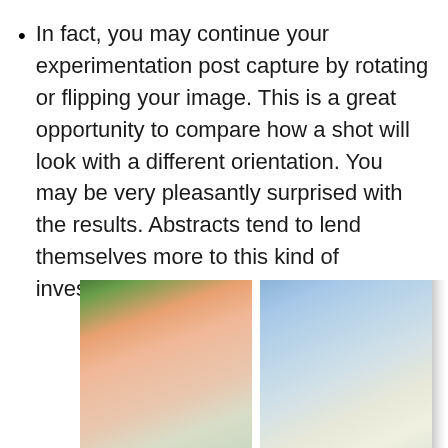In fact, you may continue your experimentation post capture by rotating or flipping your image. This is a great opportunity to compare how a shot will look with a different orientation. You may be very pleasantly surprised with the results. Abstracts tend to lend themselves more to this kind of investigation so it's well worth doing.
[Figure (photo): Two side-by-side abstract photographs showing blurred diagonal streaks of color. The left image features warm tones of green, orange, red, and cream. The right image features cool tones of blue, light blue, and cream/white.]